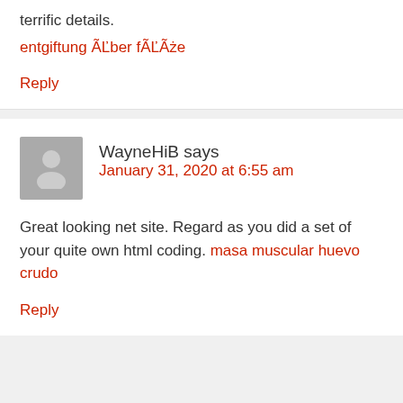terrific details.
entgiftung ÃĽber fÃĽÃże
Reply
WayneHiB says
January 31, 2020 at 6:55 am
Great looking net site. Regard as you did a set of your quite own html coding. masa muscular huevo crudo
Reply